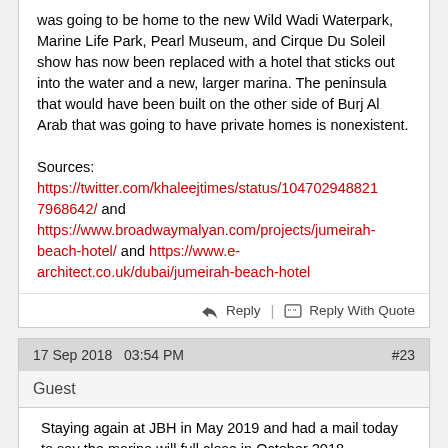was going to be home to the new Wild Wadi Waterpark, Marine Life Park, Pearl Museum, and Cirque Du Soleil show has now been replaced with a hotel that sticks out into the water and a new, larger marina. The peninsula that would have been built on the other side of Burj Al Arab that was going to have private homes is nonexistent.
Sources: https://twitter.com/khaleejtimes/status/1047029488217968642/ and https://www.broadwaymalyan.com/projects/jumeirah-beach-hotel/ and https://www.e-architect.co.uk/dubai/jumeirah-beach-hotel
17 Sep 2018   03:54 PM   #23
Guest
Staying again at JBH in May 2019 and had a mail today to say the marina will full close in October 2018